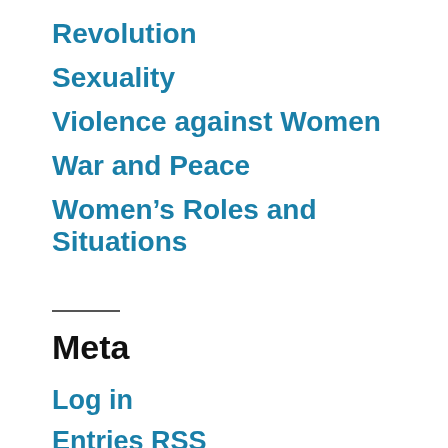Revolution
Sexuality
Violence against Women
War and Peace
Women's Roles and Situations
Meta
Log in
Entries RSS